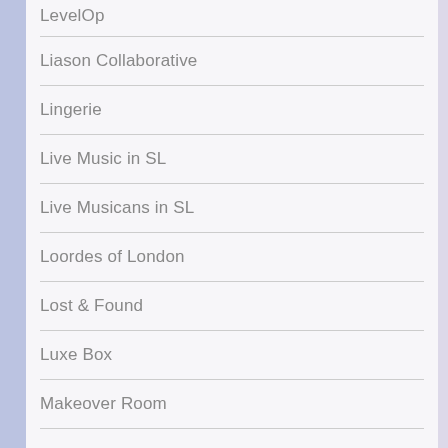LevelOp
Liason Collaborative
Lingerie
Live Music in SL
Live Musicans in SL
Loordes of London
Lost & Found
Luxe Box
Makeover Room